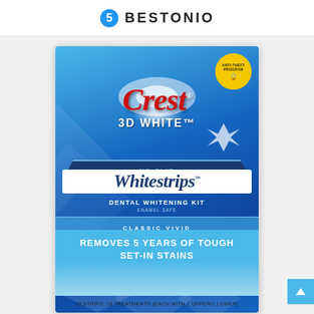BESTONIO
[Figure (photo): Crest 3D White No Slip Whitestrips Dental Whitening Kit Classic Vivid product box. Blue gradient background with red Crest logo, white Whitestrips banner, anti-theft yellow badge, and light blue bottom section stating 'REMOVES 5 YEARS OF TOUGH SET-IN STAINS'. Bottom text: '20 STRIPS: 10 TREATMENTS (EACH WITH 1 UPPER/1 LOWER)']